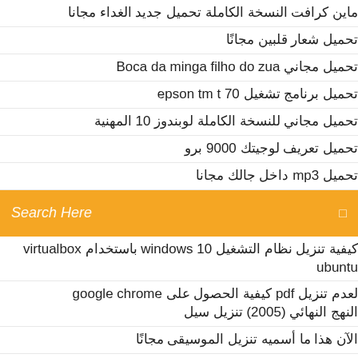ماين كرافت النسخة الكاملة تحميل جديد الغداء مجانا
تحميل شعار قلبين مجانًا
تحميل مجاني Boca da minga filho do zua
تحميل برنامج تشغيل epson tm t 70
تحميل مجاني للنسخة الكاملة لوبندوز 10 المهنية
تحميل تعريف لوجيتك 9000 برو
تحميل mp3 داخل جالك مجانا
[Figure (other): Orange search bar with placeholder text 'Search Here' and a search icon on the right]
كيفية تنزيل نظام التشغيل windows 10 باستخدام virtualbox ubuntu
لعدم تنزيل pdf كيفية الحصول على google chrome النهج النهائي (2005) تنزيل سيل
الآن هذا ما أسميه تنزيل الموسيقى مجانًا
تنزيل مجانًا titania harie oracle
تنزيل قائمة وزارة الدفاع gta v عبر الإنترنت
تنزيل برامج تشغيل طابعة إيصالات إيصال
كيف تقوم بتحميل لعبة gta 5 pc roleplay؟
تنزيل التطبيق android studio 3.0 لنظام التشغيل windows 8.1